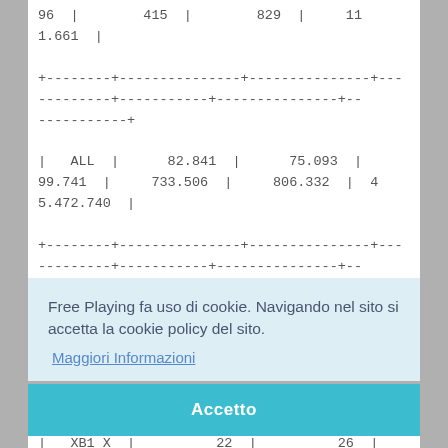| 96 | 415 | 829 | 11 |
| 1.661 |  |
| +--------+---------------+---------------+--- |  |
| --------+-----------+---------------+---- |  |
| -----------+ |  |
| ALL | 82.841 | 75.093 |  |
| 99.741 | 733.506 | 806.332 | 4 |
| 5.472.740 |  |
| +--------+---------------+---------------+--- |  |
| --------+-----------+---------------+---- |  |
Free Playing fa uso di cookie. Navigando nel sito si accetta la cookie policy del sito.
Maggiori Informazioni
Accetto
| XB1 X |         22 |         26 |